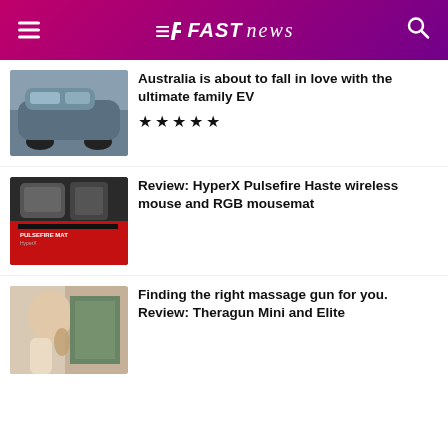FAST news
Australia is about to fall in love with the ultimate family EV ★★★★★
Review: HyperX Pulsefire Haste wireless mouse and RGB mousemat
Finding the right massage gun for you. Review: Theragun Mini and Elite